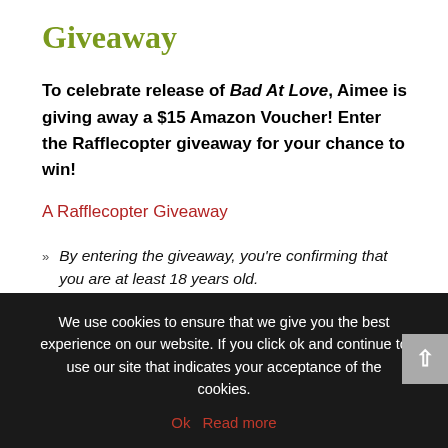Giveaway
To celebrate release of Bad At Love, Aimee is giving away a $15 Amazon Voucher! Enter the Rafflecopter giveaway for your chance to win!
A Rafflecopter Giveaway
By entering the giveaway, you're confirming that you are at least 18 years old.
By entering you are agreeing to the Terms and Conditions set out by Rafflecopter for entries.
We use cookies to ensure that we give you the best experience on our website. If you click ok and continue to use our site that indicates your acceptance of the cookies.
Ok   Read more